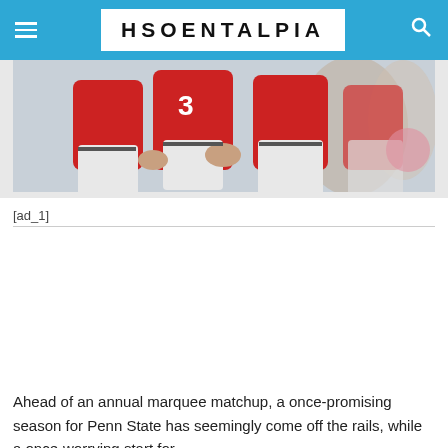HSOENTALPIA
[Figure (photo): Football players in red and white uniforms gathered together on the field]
[ad_1]
Ahead of an annual marquee matchup, a once-promising season for Penn State has seemingly come off the rails, while a once-worrying start for